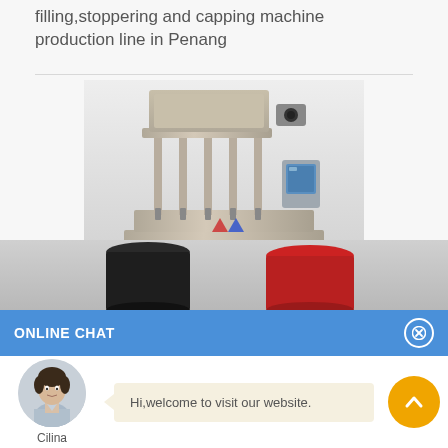filling,stoppering and capping machine production line in Penang
[Figure (photo): Industrial filling, stoppering and capping machine on a production line, stainless steel construction with multiple filling heads and a control panel. Two jars (one dark/black, one red) visible at the bottom foreground.]
ONLINE CHAT
[Figure (photo): Avatar photo of a female chat agent named Cilina, wearing a light blue shirt, shown in a circular frame.]
Cilina
Hi,welcome to visit our website.